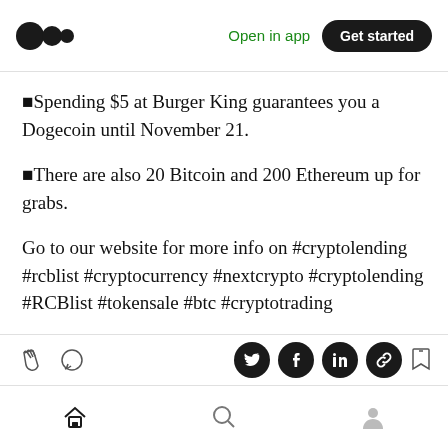Medium logo | Open in app | Get started
▪Spending $5 at Burger King guarantees you a Dogecoin until November 21.
▪There are also 20 Bitcoin and 200 Ethereum up for grabs.
Go to our website for more info on #cryptolending #rcblist #cryptocurrency #nextcrypto #cryptolending #RCBlist #tokensale #btc #cryptotrading
Action bar with clap, comment, share icons and bottom navigation with home, search, profile